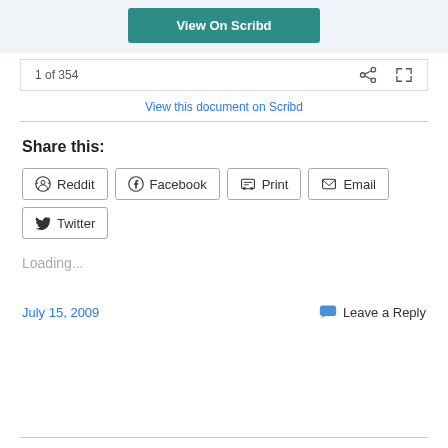[Figure (screenshot): View On Scribd button (teal/green background with white bold text)]
1 of 354
View this document on Scribd
Share this:
Reddit
Facebook
Print
Email
Twitter
Loading...
July 15, 2009
Leave a Reply